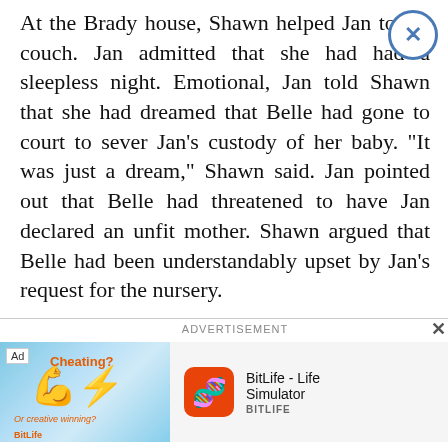At the Brady house, Shawn helped Jan to the couch. Jan admitted that she had had a sleepless night. Emotional, Jan told Shawn that she had dreamed that Belle had gone to court to sever Jan's custody of her baby. "It was just a dream," Shawn said. Jan pointed out that Belle had threatened to have Jan declared an unfit mother. Shawn argued that Belle had been understandably upset by Jan's request for the nursery.
ADVERTISEMENT
[Figure (other): Advertisement banner for BitLife - Life Simulator app, showing a flexing arm emoji with 'Cheating?' text on a blue sunburst background, alongside the BitLife app icon and name.]
[Figure (other): Advertisement for 'Unsold Furniture Selling For Nearly Nothing In Ashburn' showing a wall-mounted security camera light fixture. Labeled Furniture | Sponsored.]